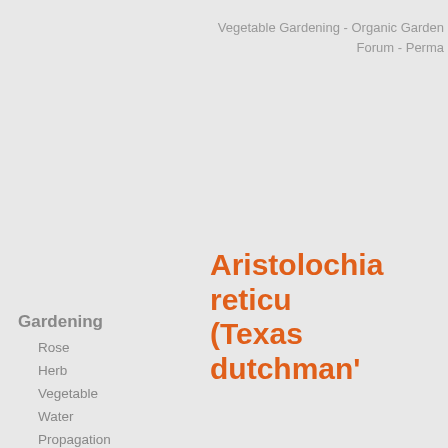Vegetable Gardening - Organic Garden Forum - Perma
Aristolochia reticu (Texas dutchman'
Gardening
Rose
Herb
Vegetable
Water
Propagation
Organic
Growing Fruit
Growing Tomatoes
Composting
Soil
All about Sheds
Container
Hydroponics
Flower
Scientific name : Aristolochia reticulata J Botanical Family : Aristolochiaceae
Plant Popularity
The plant Aristolochia reticulata Jacq. is in the top 10% of botanical plant names on English name : Texas dutchman's pipe